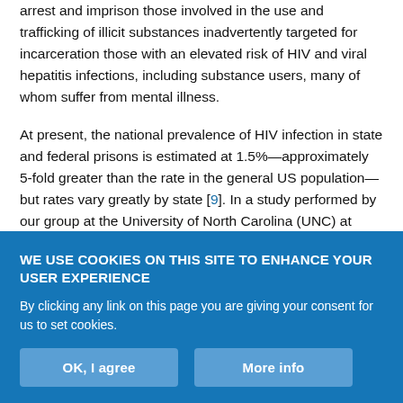arrest and imprison those involved in the use and trafficking of illicit substances inadvertently targeted for incarceration those with an elevated risk of HIV and viral hepatitis infections, including substance users, many of whom suffer from mental illness.
At present, the national prevalence of HIV infection in state and federal prisons is estimated at 1.5%—approximately 5-fold greater than the rate in the general US population—but rates vary greatly by state [9]. In a study performed by our group at the University of North Carolina (UNC) at Chapel Hill, excess blood specimens that remained after routine medical screening of over 23,000 adult men
WE USE COOKIES ON THIS SITE TO ENHANCE YOUR USER EXPERIENCE
By clicking any link on this page you are giving your consent for us to set cookies.